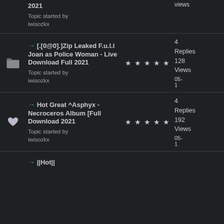2021 Topic started by iwisozkx — views
→ [.[0@0].]Zip Leaked F.u.l.l Joan as Police Woman - Live Download Full 2021 Topic started by iwisozkx — 4 Replies 128 Views 05-1
→ Hot Great ^Asphyx - Necroceros Album [Full Download 2021 Topic started by iwisozkx — 4 Replies 192 Views 05-1
→ ||Hot||